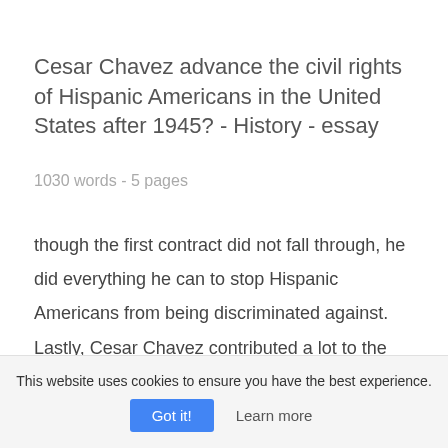Cesar Chavez advance the civil rights of Hispanic Americans in the United States after 1945? - History - essay
1030 words - 5 pages
though the first contract did not fall through, he did everything he can to stop Hispanic Americans from being discriminated against. Lastly, Cesar Chavez contributed a lot to the civil rights movement to improve the lives of the farm workers. He believed in legislative reforms to help with the movement. They
This website uses cookies to ensure you have the best experience. Got it! Learn more